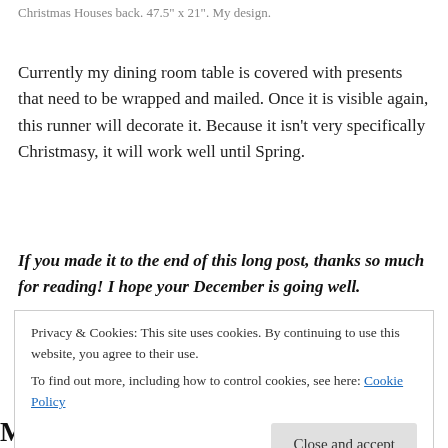Christmas Houses back. 47.5" x 21". My design.
Currently my dining room table is covered with presents that need to be wrapped and mailed. Once it is visible again, this runner will decorate it. Because it isn’t very specifically Christmasy, it will work well until Spring.
If you made it to the end of this long post, thanks so much for reading! I hope your December is going well.
Privacy & Cookies: This site uses cookies. By continuing to use this website, you agree to their use.
To find out more, including how to control cookies, see here: Cookie Policy
My Favorite Fabric Purchases